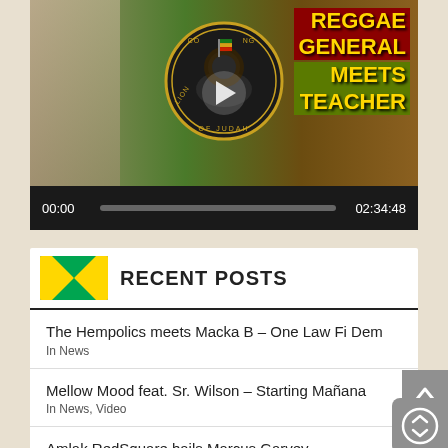[Figure (screenshot): Video player showing a reggae music thumbnail with Lion of Judah circular logo, Rastafarian colors (red, gold, green), text reading 'REGGAE GENERAL MEETS TEACHER', and a play button. Controls show 00:00 start time and 02:34:48 end time.]
RECENT POSTS
The Hempolics meets Macka B – One Law Fi Dem
In News
Mellow Mood feat. Sr. Wilson – Starting Mañana
In News, Video
Amlak RedSquare hails Marcus Garvey
In News